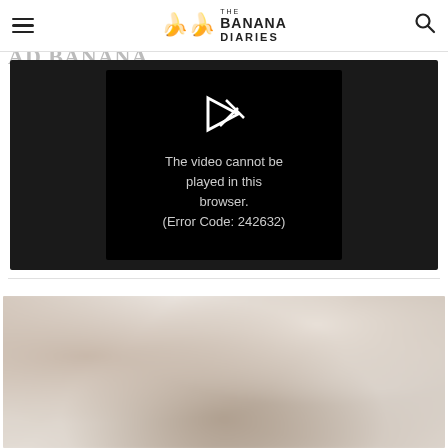The Banana Diaries
[Figure (screenshot): Video player showing error message: The video cannot be played in this browser. (Error Code: 242632)]
[Figure (photo): Blurred close-up photo of crumpled beige/cream fabric or linens]